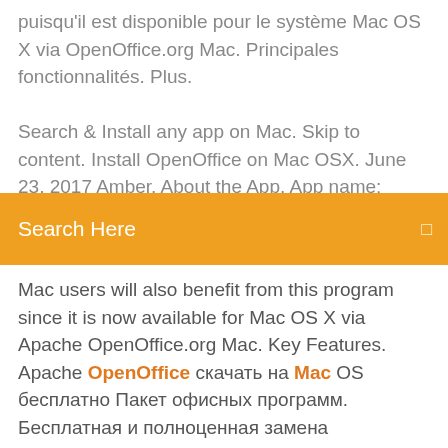puisqu'il est disponible pour le système Mac OS X via OpenOffice.org Mac. Principales fonctionnalités. Plus.
Search & Install any app on Mac. Skip to content. Install OpenOffice on Mac OSX. June 23, 2017 Amber. About the App. App name: OpenOffice. Download the latest version of Apache
Search Here
Mac users will also benefit from this program since it is now available for Mac OS X via Apache OpenOffice.org Mac. Key Features. Apache OpenOffice скачать на Mac OS бесплатно Пакет офисных программ. Бесплатная и полноценная замена коммерческому Microsoft Office. OpenOffice содержит набор приложений полностью заменяющих самый популярный офисный пакет Microsoft Office, который далеко не бесплатный. Installing OpenOffice using MAC. - YouTube How to Install OpenOffice on Mac, Windows and Linux